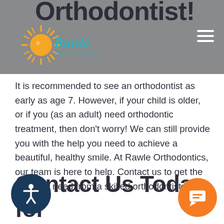Orthodontist!
[Figure (logo): Rawle Orthodontics logo with sun graphic and teal script text]
It is recommended to see an orthodontist as early as age 7. However, if your child is older, or if you (as an adult) need orthodontic treatment, then don't worry! We can still provide you with the help you need to achieve a beautiful, healthy smile. At Rawle Orthodontics, our team is here to help. Contact us to get the help you need from a skilled orthodontist.
Contact Us Today for